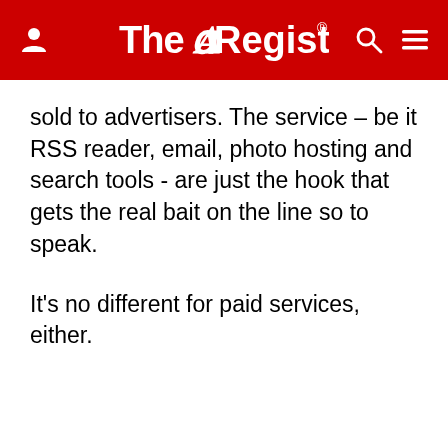The Register
sold to advertisers. The service – be it RSS reader, email, photo hosting and search tools - are just the hook that gets the real bait on the line so to speak.
It’s no different for paid services, either.